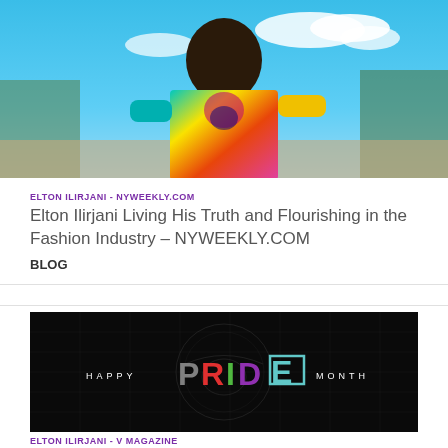[Figure (photo): Person wearing colorful patterned jacket outdoors with blue sky background]
ELTON ILIRJANI - NYWEEKLY.COM
Elton Ilirjani Living His Truth and Flourishing in the Fashion Industry - NYWEEKLY.COM
BLOG
[Figure (photo): Black background image with HAPPY PRIDE MONTH text in rainbow colors with US seal watermark]
ELTON ILIRJANI - V MAGAZINE
ELTON ILIRJANI AND THE CAUSE FOR